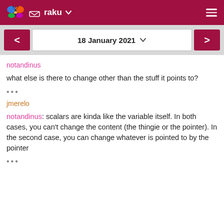raku
18 January 2021
notandinus
what else is there to change other than the stuff it points to?
•••
jmerelo
notandinus: scalars are kinda like the variable itself. In both cases, you can't change the content (the thingie or the pointer). In the second case, you can change whatever is pointed to by the pointer
•••